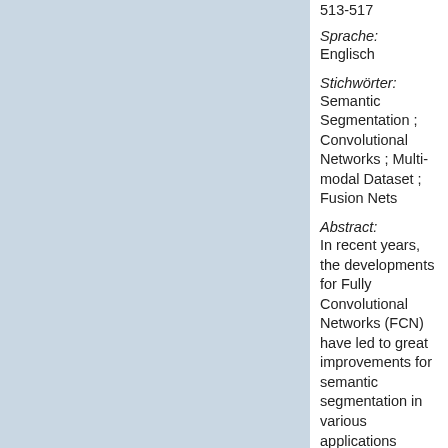[Figure (illustration): Light blue/grey rectangular panel occupying the left portion of the page.]
513-517
Sprache:
Englisch
Stichwörter:
Semantic Segmentation ; Convolutional Networks ; Multi-modal Dataset ; Fusion Nets
Abstract:
In recent years, the developments for Fully Convolutional Networks (FCN) have led to great improvements for semantic segmentation in various applications including fused remote sensing data. There is, however, a lack of an in-depth study inside FCN models which would